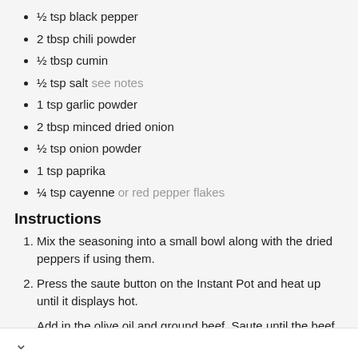½ tsp black pepper
2 tbsp chili powder
½ tbsp cumin
½ tsp salt see notes
1 tsp garlic powder
2 tbsp minced dried onion
½ tsp onion powder
1 tsp paprika
¼ tsp cayenne or red pepper flakes
Instructions
Mix the seasoning into a small bowl along with the dried peppers if using them.
Press the saute button on the Instant Pot and heat up until it displays hot.
Add in the olive oil and ground beef. Saute until the beef is browned. We don't remove the grease here, but we use lean beef.